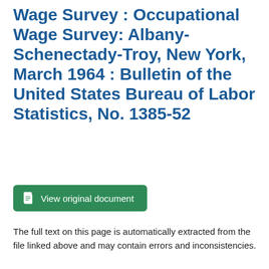Wage Survey : Occupational Wage Survey: Albany-Schenectady-Troy, New York, March 1964 : Bulletin of the United States Bureau of Labor Statistics, No. 1385-52
[Figure (other): Green button labeled 'View original document' with a document icon]
The full text on this page is automatically extracted from the file linked above and may contain errors and inconsistencies.